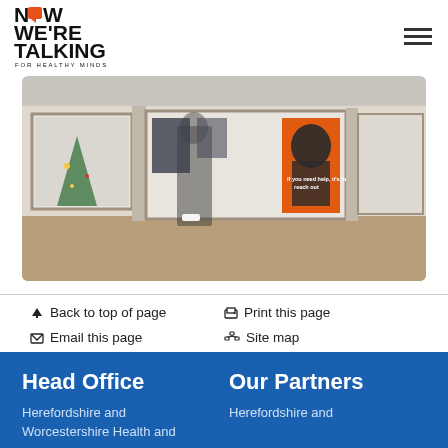[Figure (logo): NOW WE'RE TALKING FOR HEALTHY MINDS logo with orange speech bubble icon]
[Figure (photo): A blurred pedestrian walking past shop windows in a shopping centre, with an orange mental health awareness poster in the window reading 'if you need help, it's here, reach out']
↑ Back to top of page
🖨 Print this page
✉ Email this page
Site map
Head Office
Herefordshire and Worcestershire Health and
Our Partners
Herefordshire and